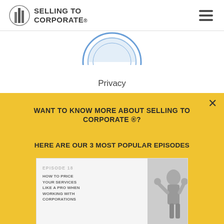SELLING TO CORPORATE
[Figure (logo): Circular badge/seal logo for Selling to Corporate]
Privacy
Terms & Conditions
Disclaimer
Contact Us
WANT TO KNOW MORE ABOUT SELLING TO CORPORATE ®?
HERE ARE OUR 3 MOST POPULAR EPISODES
[Figure (screenshot): Episode 18 card: HOW TO PRICE YOUR SERVICES LIKE A PRO WHEN WORKING WITH CORPORATIONS, with a woman celebrating in black and white photo]